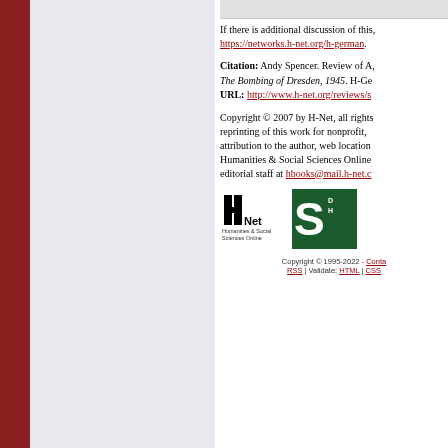If there is additional discussion of this, https://networks.h-net.org/h-german.
Citation: Andy Spencer. Review of A, The Bombing of Dresden, 1945. H-Ge URL: http://www.h-net.org/reviews/s
Copyright © 2007 by H-Net, all rights reprinting of this work for nonprofit, attribution to the author, web location Humanities & Social Sciences Online editorial staff at hbooks@mail.h-net.c
[Figure (logo): H-Net logo with text Humanities & Social Sciences Online]
[Figure (logo): Michigan State University green logo with large S]
Copyright © 1995-2022 - Conta RSS | Validate: HTML | CSS